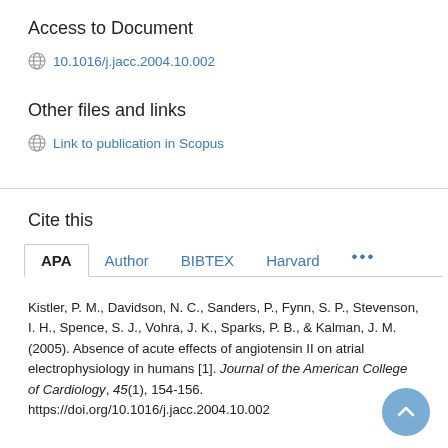Access to Document
10.1016/j.jacc.2004.10.002
Other files and links
Link to publication in Scopus
Cite this
APA | Author | BIBTEX | Harvard | ...
Kistler, P. M., Davidson, N. C., Sanders, P., Fynn, S. P., Stevenson, I. H., Spence, S. J., Vohra, J. K., Sparks, P. B., & Kalman, J. M. (2005). Absence of acute effects of angiotensin II on atrial electrophysiology in humans [1]. Journal of the American College of Cardiology, 45(1), 154-156. https://doi.org/10.1016/j.jacc.2004.10.002